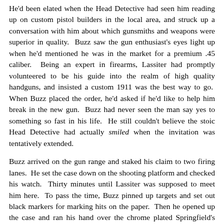He'd been elated when the Head Detective had seen him reading up on custom pistol builders in the local area, and struck up a conversation with him about which gunsmiths and weapons were superior in quality.  Buzz saw the gun enthusiast's eyes light up when he'd mentioned he was in the market for a premium .45 caliber.  Being an expert in firearms, Lassiter had promptly volunteered to be his guide into the realm of high quality handguns, and insisted a custom 1911 was the best way to go.  When Buzz placed the order, he'd asked if he'd like to help him break in the new gun.  Buzz had never seen the man say yes to something so fast in his life.  He still couldn't believe the stoic Head Detective had actually smiled when the invitation was tentatively extended.
Buzz arrived on the gun range and staked his claim to two firing lanes.  He set the case down on the shooting platform and checked his watch.  Thirty minutes until Lassiter was supposed to meet him here.  To pass the time, Buzz pinned up targets and set out black markers for marking hits on the paper.  Then he opened up the case and ran his hand over the chrome plated Springfield's custom cherry wood grips, tailored to perfectly fit his large hands.
'Detective Lassiter will love shooting this!' he thought, secretly overjoyed to have found common ground with someone he looked up to so much.